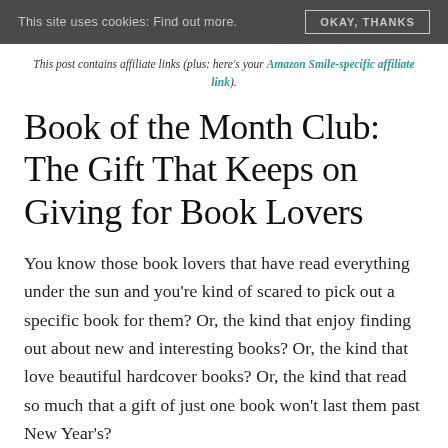This site uses cookies: Find out more. OKAY, THANKS
This post contains affiliate links (plus: here's your Amazon Smile-specific affiliate link).
Book of the Month Club: The Gift That Keeps on Giving for Book Lovers
You know those book lovers that have read everything under the sun and you're kind of scared to pick out a specific book for them? Or, the kind that enjoy finding out about new and interesting books? Or, the kind that love beautiful hardcover books? Or, the kind that read so much that a gift of just one book won't last them past New Year's?